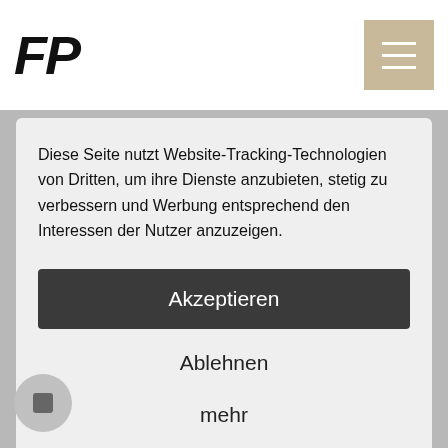FP
[Figure (other): Hamburger menu icon button with beige/tan background]
Diese Seite nutzt Website-Tracking-Technologien von Dritten, um ihre Dienste anzubieten, stetig zu verbessern und Werbung entsprechend den Interessen der Nutzer anzuzeigen.
Akzeptieren
Ablehnen
mehr
Powered by  usercentrics & eRecht24
more time to pursue her vision. At 8 years of age she ed her first major competition taking the division championships that year. Bethany's dream had become her